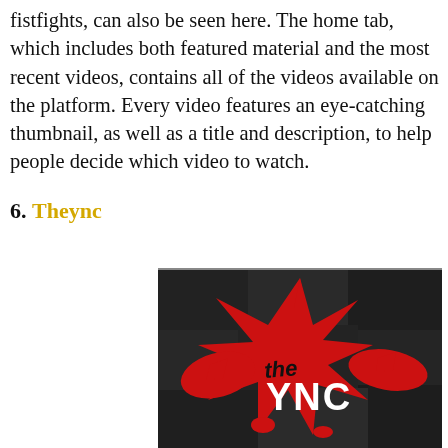fistfights, can also be seen here. The home tab, which includes both featured material and the most recent videos, contains all of the videos available on the platform. Every video features an eye-catching thumbnail, as well as a title and description, to help people decide which video to watch.
6. Theync
[Figure (photo): Logo of 'the YNC' website — red splatter/star shape on a dark concrete wall background, with black text 'the' and white bold text 'YNC' in the center of the red splash.]